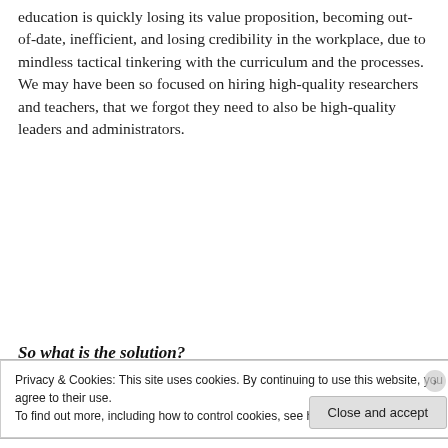education is quickly losing its value proposition, becoming out-of-date, inefficient, and losing credibility in the workplace, due to mindless tactical tinkering with the curriculum and the processes. We may have been so focused on hiring high-quality researchers and teachers, that we forgot they need to also be high-quality leaders and administrators.
[Figure (other): Longreads advertisement banner — red background with Longreads logo and tagline 'The best stories on the web — ours, and everyone else's.']
So what is the solution?
Privacy & Cookies: This site uses cookies. By continuing to use this website, you agree to their use.
To find out more, including how to control cookies, see here: Cookie Policy